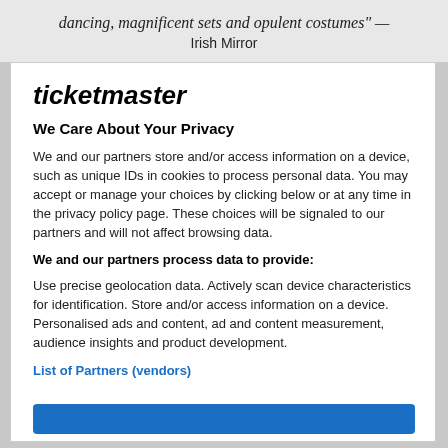dancing, magnificent sets and opulent costumes" —
Irish Mirror
ticketmaster
We Care About Your Privacy
We and our partners store and/or access information on a device, such as unique IDs in cookies to process personal data. You may accept or manage your choices by clicking below or at any time in the privacy policy page. These choices will be signaled to our partners and will not affect browsing data.
We and our partners process data to provide:
Use precise geolocation data. Actively scan device characteristics for identification. Store and/or access information on a device. Personalised ads and content, ad and content measurement, audience insights and product development.
List of Partners (vendors)